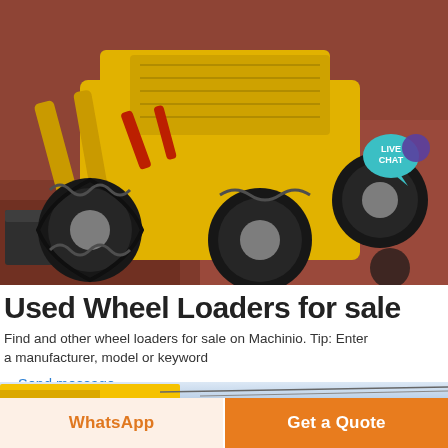[Figure (photo): Yellow compact wheel loader / skid steer with black bucket attachment, photographed from above on a red concrete floor inside a building. The machine has large knobby tires. A 'LIVE CHAT' speech bubble badge appears in the top-right corner.]
Used Wheel Loaders for sale
Find and other wheel loaders for sale on Machinio. Tip: Enter a manufacturer, model or keyword
« Send message
[Figure (photo): Partial view of yellow construction machinery against a light blue sky background.]
WhatsApp
Get a Quote